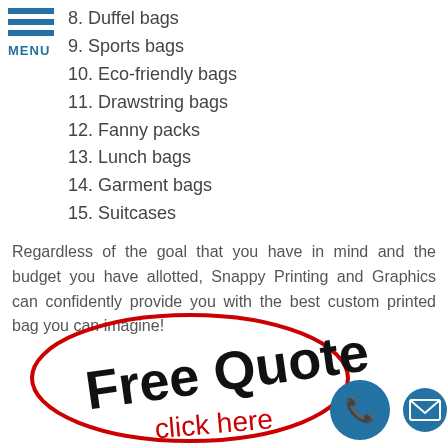[Figure (other): Hamburger menu icon with three blue horizontal bars and 'MENU' label in blue below]
8. Duffel bags
9. Sports bags
10. Eco-friendly bags
11. Drawstring bags
12. Fanny packs
13. Lunch bags
14. Garment bags
15. Suitcases
Regardless of the goal that you have in mind and the budget you have allotted, Snappy Printing and Graphics can confidently provide you with the best custom printed bag you can imagine!
[Figure (illustration): Handwritten-style 'Free Quote' text in black inside a red oval/ellipse outline, with 'click here' in red script below, and two circular blue icons (phone and email) on the right]